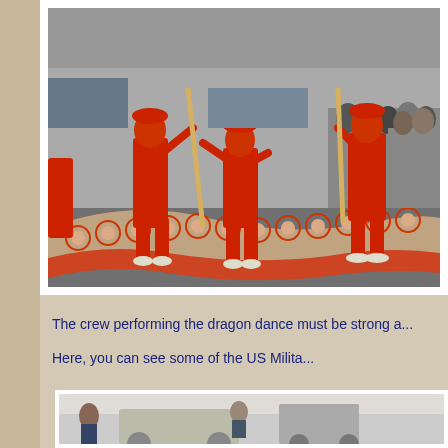[Figure (photo): Chinese dragon dance performance on a street. Several performers dressed in red uniforms are holding poles to carry a large decorated dragon costume with circular scale patterns in red and silver/grey. Spectators and vehicles are visible in the background.]
The crew performing the dragon dance must be strong a...
Here, you can see some of the US Milita...
[Figure (photo): Partially visible photograph, appears to show US Military personnel or vehicles, cropped at bottom of page.]